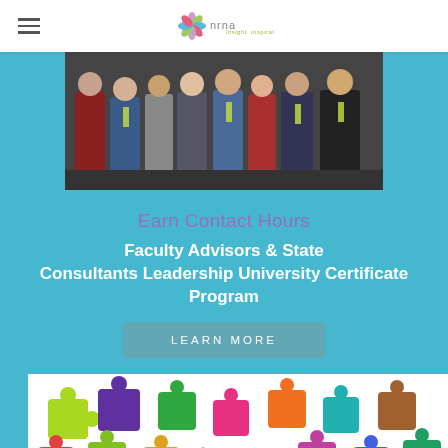NRNA - insight. inspiration. ingenuity.
[Figure (photo): Group photo of several people standing together, some wearing lanyards with badges]
Earn Contact Hours
Faculty Advisors & State Consultants Leadership University Certificate Program
LEARN MORE
[Figure (photo): Colorful puzzle pieces scattered on a white background with NRNA logo visible at the bottom]